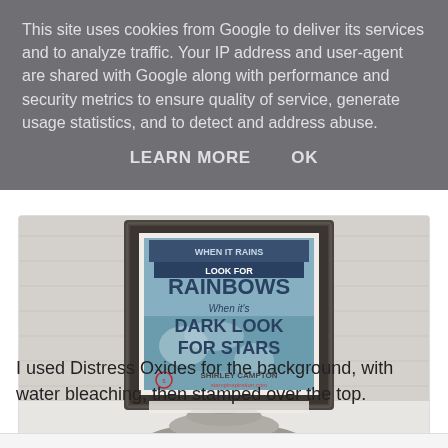This site uses cookies from Google to deliver its services and to analyze traffic. Your IP address and user-agent are shared with Google along with performance and security metrics to ensure quality of service, generate usage statistics, and to detect and address abuse.
LEARN MORE    OK
[Figure (photo): A framed art print inside an ornate dark frame, resting on a metallic lamp base on a white surface. The print reads: 'When it rains look for rainbows, when it's dark look for stars.' With a watermark: Shirley Campton stampinspiration.com]
I used Distress Oxides for the background, with water bleaching, then stamped over the top.